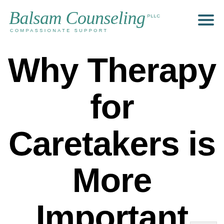Balsam Counseling PLLC — COMPASSIONATE SUPPORT
Why Therapy for Caretakers is More Important Than Ever
General